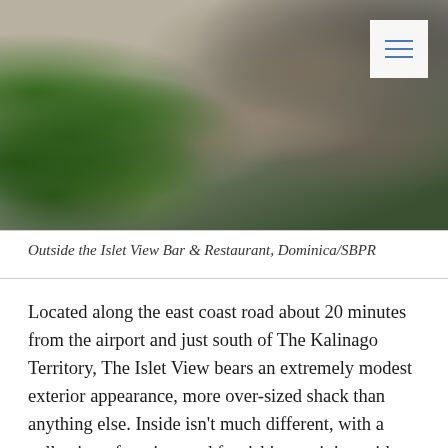[Figure (photo): Outdoor scene showing lush green tropical plants/vines along a stone or concrete ledge on the left side, with a large dark volcanic rock formation on the right, photographed outside the Islet View Bar & Restaurant in Dominica]
Outside the Islet View Bar & Restaurant, Dominica/SBPR
Located along the east coast road about 20 minutes from the airport and just south of The Kalinago Territory, The Islet View bears an extremely modest exterior appearance, more over-sized shack than anything else. Inside isn't much different, with a collection of rustic wood furnishings mixing with palm frond decorations. There's nothing fancy... until you step out on the